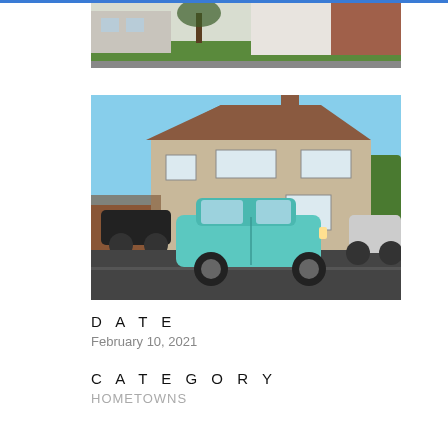[Figure (photo): Partial photo of a house exterior with green lawn and bare tree, brick building in background, cropped at top]
[Figure (photo): Photo of a semi-detached suburban house with a light blue/teal small car parked on the street in front, clear blue sky, hedges and other cars visible]
DATE
February 10, 2021
CATEGORY
HOMETOWNS